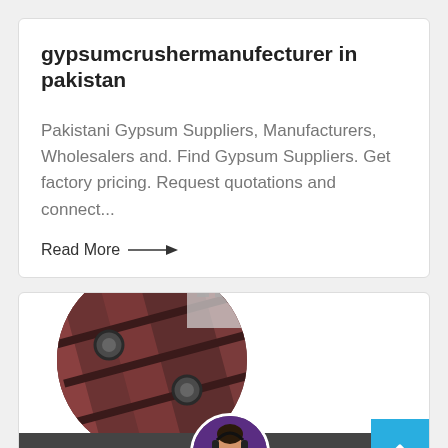gypsumcrushermanufecturer in pakistan
Pakistani Gypsum Suppliers, Manufacturers, Wholesalers and. Find Gypsum Suppliers. Get factory pricing. Request quotations and connect...
Read More →
[Figure (photo): Circular cropped photo of industrial red/brown machinery with pulleys and bolts]
[Figure (photo): Circular photo of a female customer service agent wearing a headset, on dark purple background]
Leave Message
Chat Online